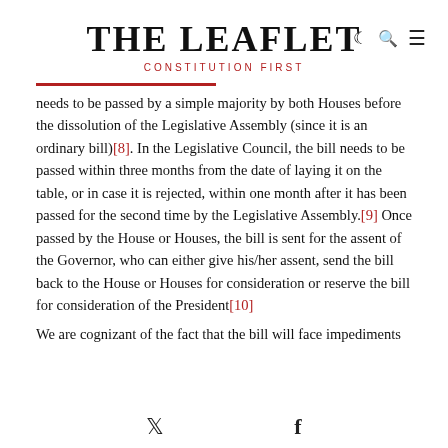THE LEAFLET — CONSTITUTION FIRST
needs to be passed by a simple majority by both Houses before the dissolution of the Legislative Assembly (since it is an ordinary bill)[8]. In the Legislative Council, the bill needs to be passed within three months from the date of laying it on the table, or in case it is rejected, within one month after it has been passed for the second time by the Legislative Assembly.[9] Once passed by the House or Houses, the bill is sent for the assent of the Governor, who can either give his/her assent, send the bill back to the House or Houses for consideration or reserve the bill for consideration of the President[10]
We are cognizant of the fact that the bill will face impediments
Twitter  Facebook